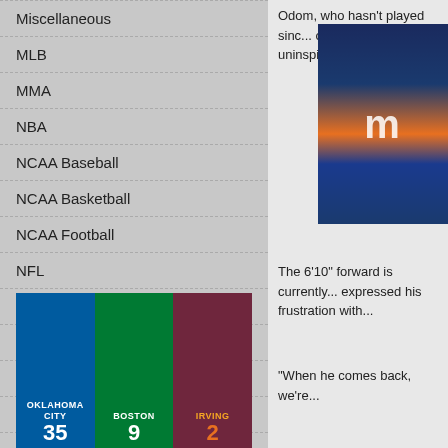Miscellaneous
MLB
MMA
NBA
NCAA Baseball
NCAA Basketball
NCAA Football
NFL
NHL
Olympics
PGA
Podcasts
Soccer
Tennis
Wrestling
[Figure (photo): NBA jerseys: Oklahoma City (blue, #35), Boston (green, #9), Cleveland/Irving (red, #2)]
Odom, who hasn't played since ... of his seemingly uninspired p...
[Figure (photo): Basketball arena photo, partial view with orange and blue elements]
The 6'10" forward is currently... expressed his frustration with...
"When he comes back, we're...